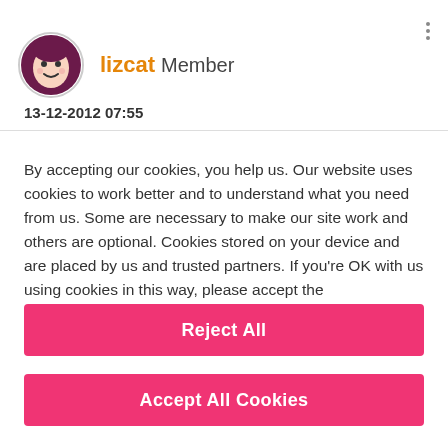lizcat Member
13-12-2012 07:55
By accepting our cookies, you help us. Our website uses cookies to work better and to understand what you need from us. Some are necessary to make our site work and others are optional. Cookies stored on your device and are placed by us and trusted partners. If you're OK with us using cookies in this way, please accept the recommended settings. View our Cookie Policy
Manage My Settings
Reject All
Accept All Cookies